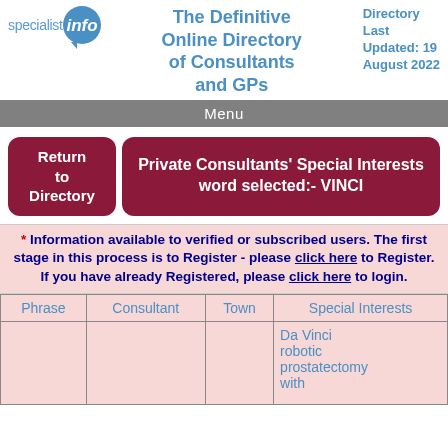specialist info — The Definitive Online Directory of Consultants and GPs — Directory Last Updated: 19 August 2022
Menu
Return to Directory
Private Consultants' Special Interests word selected:- VINCI
* Information available to verified or subscribed users. The first stage in this process is to Register - please click here to Register. If you have already Registered, please click here to login.
| Phrase | Consultant | Town | Special Interests |
| --- | --- | --- | --- |
|  |  |  | Da Vinci robotic prostatectomy with |